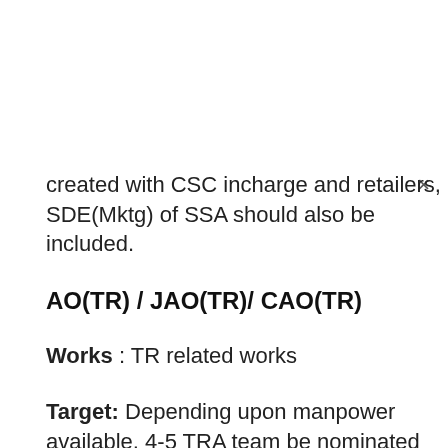created with CSC incharge and retailers, SDE(Mktg) of SSA should also be included.
AO(TR) / JAO(TR)/ CAO(TR)
Works : TR related works
Target: Depending upon manpower available, 4-5 TRA team be nominated may be with one member or more in each SSA and the team must visit door to door to collect outstanding dues.